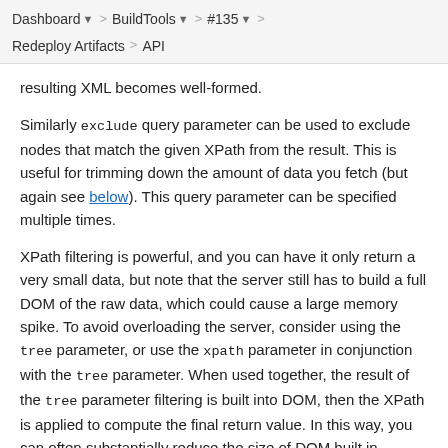Dashboard > BuildTools > #135 > Redeploy Artifacts > API
resulting XML becomes well-formed.
Similarly exclude query parameter can be used to exclude nodes that match the given XPath from the result. This is useful for trimming down the amount of data you fetch (but again see below). This query parameter can be specified multiple times.
XPath filtering is powerful, and you can have it only return a very small data, but note that the server still has to build a full DOM of the raw data, which could cause a large memory spike. To avoid overloading the server, consider using the tree parameter, or use the xpath parameter in conjunction with the tree parameter. When used together, the result of the tree parameter filtering is built into DOM, then the XPath is applied to compute the final return value. In this way, you can often substantially reduce the size of DOM built in memory.